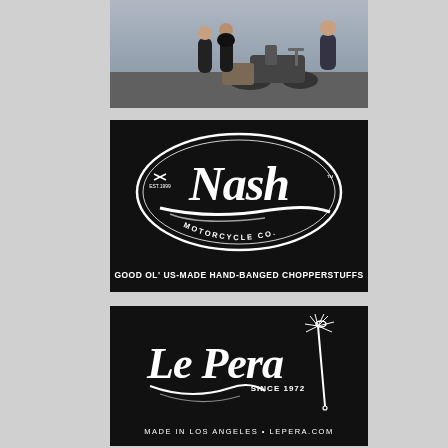[Figure (photo): Group of people standing near a motorcycle outdoors, wearing dark jackets and casual clothing]
[Figure (logo): Nash Motorcycle Co. logo — black background with white script 'Nash' inside an oval, 'EST.1999' and crossed tools icon, 'MOTORCYCLE CO.' text, and tagline 'GOOD OL' US-MADE HAND-BANGED CHOPPERSTUFFS']
[Figure (logo): Le Pera logo — black background with white script 'Le Pera', 'SINCE 1972', decorative needle/thread illustration, and tagline 'MADE IN LOS ANGELES • LEPERA.COM']